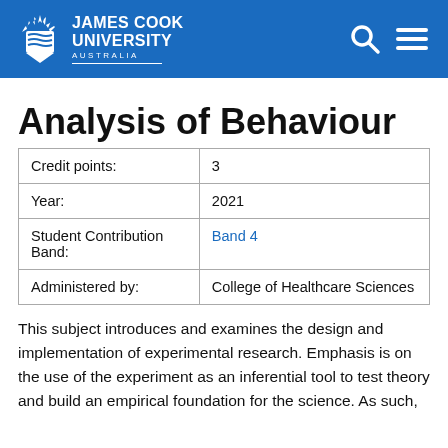James Cook University Australia
Analysis of Behaviour
| Credit points: | 3 |
| Year: | 2021 |
| Student Contribution Band: | Band 4 |
| Administered by: | College of Healthcare Sciences |
This subject introduces and examines the design and implementation of experimental research. Emphasis is on the use of the experiment as an inferential tool to test theory and build an empirical foundation for the science. As such,